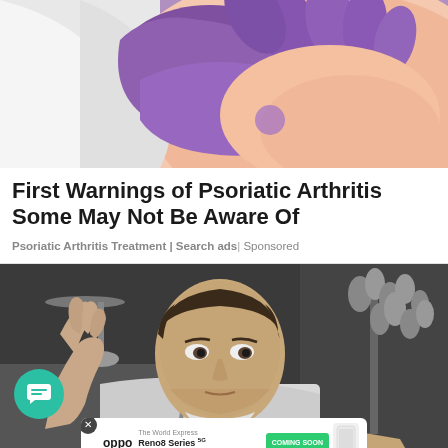[Figure (photo): Medical professional wearing purple latex glove examining or touching a patient's skin, close-up illustration style image]
First Warnings of Psoriatic Arthritis Some May Not Be Aware Of
Psoriatic Arthritis Treatment | Search ads | Sponsored
[Figure (photo): Black and white vintage photograph of a young man in a white shirt with suspenders, raising one hand, seated at a desk. A chat bubble icon overlay in teal and an Oppo Reno8 Series advertisement banner at the bottom.]